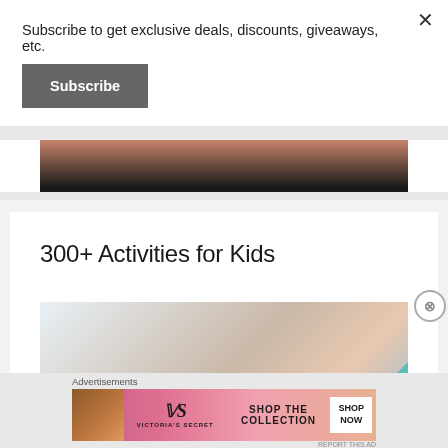Subscribe to get exclusive deals, discounts, giveaways, etc.
Subscribe
[Figure (photo): Partial view of a person's face/skin against dark background]
300+ Activities for Kids
[Figure (photo): Partial image showing light blue and peach/curtain colors, with a teal triangle accent]
Advertisements
[Figure (photo): Victoria's Secret advertisement banner with a woman's face, VS logo, 'SHOP THE COLLECTION' text, and 'SHOP NOW' button]